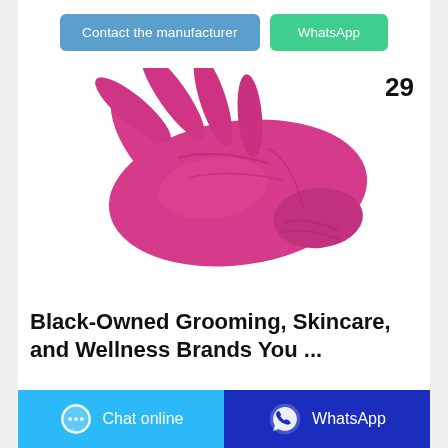Contact the manufacturer
WhatsApp
29
[Figure (photo): A pink/magenta nitrile disposable glove laid flat on a white background, fingers spread open.]
Black-Owned Grooming, Skincare, and Wellness Brands You ...
Chat online
WhatsApp